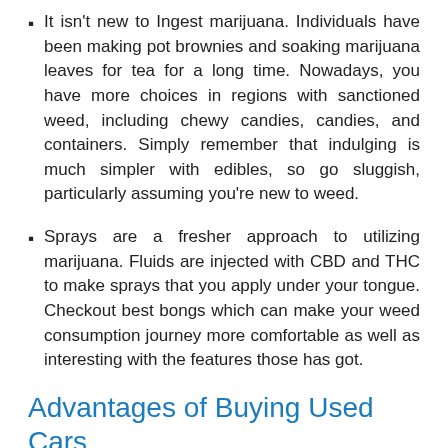It isn't new to Ingest marijuana. Individuals have been making pot brownies and soaking marijuana leaves for tea for a long time. Nowadays, you have more choices in regions with sanctioned weed, including chewy candies, candies, and containers. Simply remember that indulging is much simpler with edibles, so go sluggish, particularly assuming you're new to weed.
Sprays are a fresher approach to utilizing marijuana. Fluids are injected with CBD and THC to make sprays that you apply under your tongue. Checkout best bongs which can make your weed consumption journey more comfortable as well as interesting with the features those has got.
Advantages of Buying Used Cars